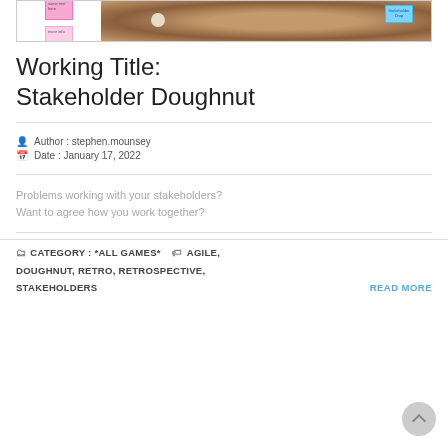[Figure (photo): Top image bar showing sticky notes on the left (pink) and a doughnut photo with a blue sticky note on the right]
Working Title: Stakeholder Doughnut
Author : stephen.mounsey
Date : January 17, 2022
Problems working with your stakeholders? Want to agree how you work together?
CATEGORY : *ALL GAMES*   AGILE, DOUGHNUT, RETRO, RETROSPECTIVE, STAKEHOLDERS
READ MORE